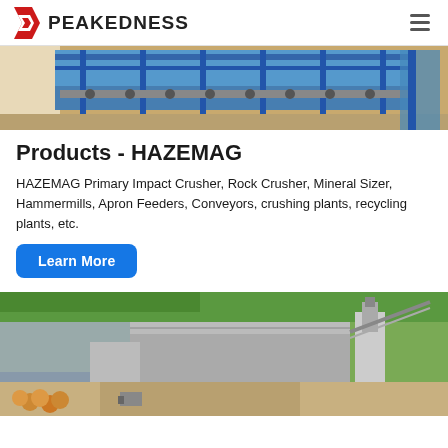PEAKEDNESS
[Figure (photo): Industrial conveyor belt system with blue steel frame structure on a construction site]
Products - HAZEMAG
HAZEMAG Primary Impact Crusher, Rock Crusher, Mineral Sizer, Hammermills, Apron Feeders, Conveyors, crushing plants, recycling plants, etc.
Learn More
[Figure (photo): Aerial 3D rendering of a crushing and processing plant facility with buildings, conveyor systems, and construction area]